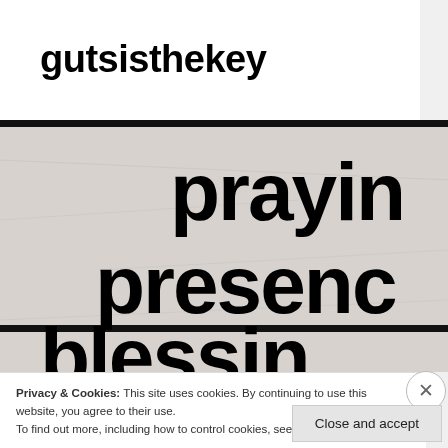gutsisthekey
[Figure (photo): Close-up image of text on a crumpled white fabric or paper showing words 'praying', 'presence', and 'blessing' in large bold black letters, partially cropped]
Privacy & Cookies: This site uses cookies. By continuing to use this website, you agree to their use.
To find out more, including how to control cookies, see here: Cookie Policy
Close and accept